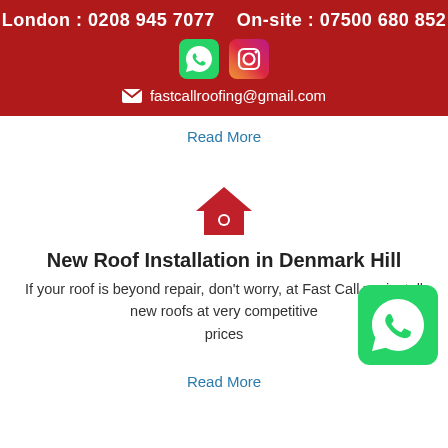London : 0208 945 7077   On-site : 07500 680 852
[Figure (logo): WhatsApp green icon and Instagram gradient icon]
fastcallroofing@gmail.com
Read More
[Figure (illustration): Red house/roof icon]
New Roof Installation in Denmark Hill
If your roof is beyond repair, don't worry, at Fast Call we install new roofs at very competitive prices
Read More
[Figure (logo): WhatsApp green floating button icon]